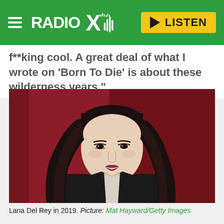RADIO X — LISTEN
f**king cool. A great deal of what I wrote on 'Born To Die' is about these wilderness years."
[Figure (photo): Portrait photo of Lana Del Rey in 2019, woman with long dark hair against a dark red background, wearing a black jacket]
Lana Del Rey in 2019. Picture: Mat Hayward/Getty Images